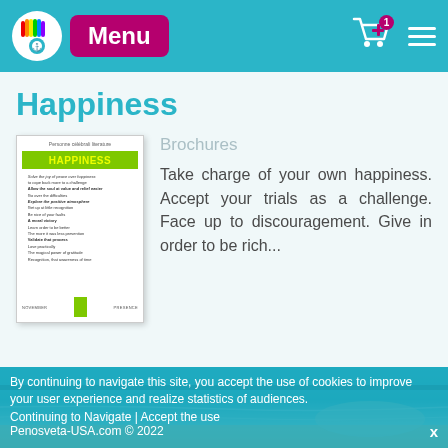Menu
Happiness
[Figure (illustration): Book cover of 'Happiness' brochure with green title bar and text content]
Brochures
Take charge of your own happiness. Accept your trials as a challenge. Face up to discouragement. Give in order to be rich...
[Figure (photo): Beach/ocean horizon scene with teal water and sandy shore]
By continuing to navigate this site, you accept the use of cookies to improve your user experience and realize statistics of audiences.
Continuing to Navigate | Accept the use
Penosveta-USA.com © 2022